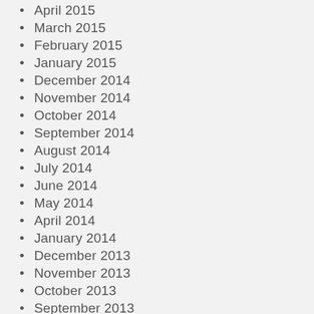April 2015
March 2015
February 2015
January 2015
December 2014
November 2014
October 2014
September 2014
August 2014
July 2014
June 2014
May 2014
April 2014
January 2014
December 2013
November 2013
October 2013
September 2013
August 2013
July 2013
June 2013